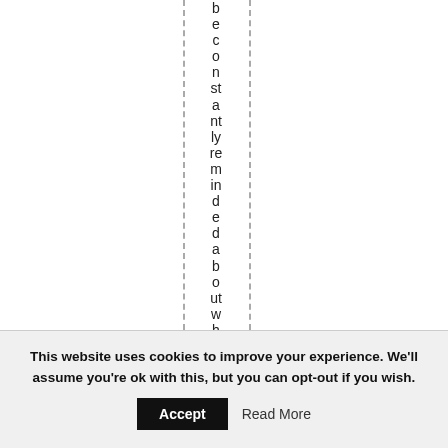be constantly reminded about what is h
This website uses cookies to improve your experience. We'll assume you're ok with this, but you can opt-out if you wish.
Accept
Read More